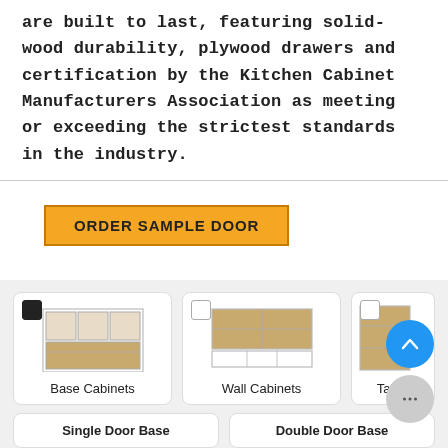are built to last, featuring solid-wood durability, plywood drawers and certification by the Kitchen Cabinet Manufacturers Association as meeting or exceeding the strictest standards in the industry.
[Figure (screenshot): Orange 'ORDER SAMPLE DOOR' button]
[Figure (screenshot): Three product category cards: Base Cabinets (checked/selected), Wall Cabinets, and Tall Cabinets (partially visible), with cabinet diagrams. Below: Single Door Base and Double Door Base footer cards.]